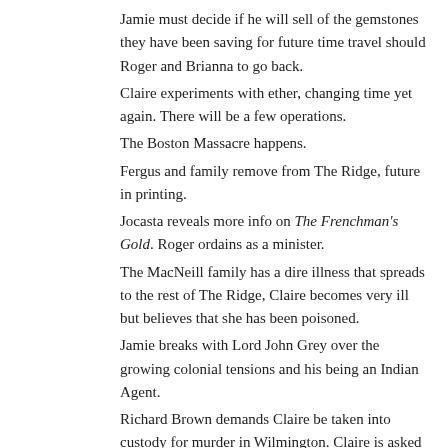Jamie must decide if he will sell of the gemstones they have been saving for future time travel should Roger and Brianna to go back. Claire experiments with ether, changing time yet again. There will be a few operations. The Boston Massacre happens. Fergus and family remove from The Ridge, future in printing. Jocasta reveals more info on The Frenchman's Gold. Roger ordains as a minister. The MacNeill family has a dire illness that spreads to the rest of The Ridge, Claire becomes very ill but believes that she has been poisoned. Jamie breaks with Lord John Grey over the growing colonial tensions and his being an Indian Agent. Richard Brown demands Claire be taken into custody for murder in Wilmington. Claire is asked to be a midwife to the new Governors wife. A rising occurs with colonists seeking the Governor.